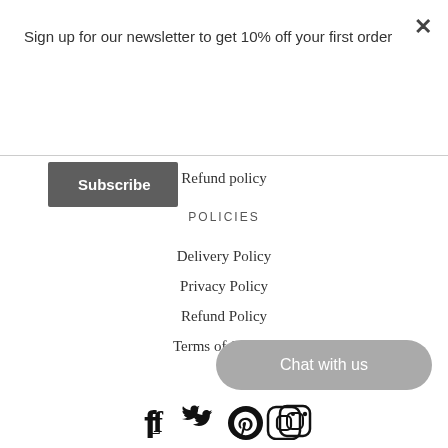Sign up for our newsletter to get 10% off your first order
Subscribe
Refund policy
POLICIES
Delivery Policy
Privacy Policy
Refund Policy
Terms of Service
Chat with us
[Figure (other): Social media icons: Facebook, Twitter, Pinterest, Instagram]